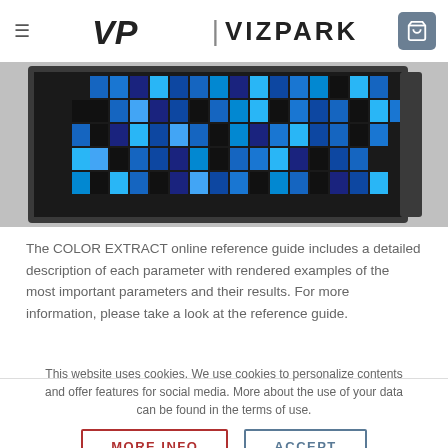VP | VIZPARK
[Figure (other): A color swatch grid showing various shades of blue and black arranged in a mosaic pattern on a dark background, partially cropped.]
The COLOR EXTRACT online reference guide includes a detailed description of each parameter with rendered examples of the most important parameters and their results. For more information, please take a look at the reference guide.
This website uses cookies. We use cookies to personalize contents and offer features for social media. More about the use of your data can be found in the terms of use.
MORE INFO   ACCEPT